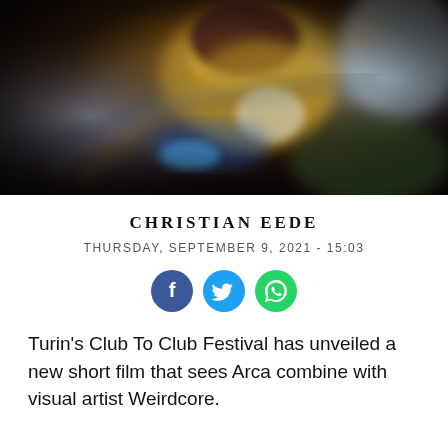[Figure (photo): Blurred motion photo of a person with dark red hair wearing a yellow jacket, working at what appears to be a DJ set or mixing equipment, with swirling motion blur effect]
CHRISTIAN EEDE
THURSDAY, SEPTEMBER 9, 2021 - 15:03
[Figure (infographic): Three circular social media share buttons: Facebook (blue), Twitter (light blue), WhatsApp (green)]
Turin's Club To Club Festival has unveiled a new short film that sees Arca combine with visual artist Weirdcore.